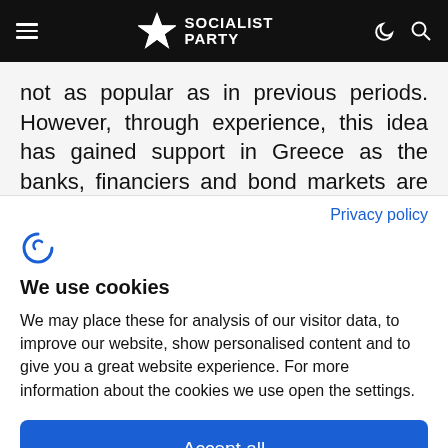Socialist Party
not as popular as in previous periods. However, through experience, this idea has gained support in Greece as the banks, financiers and bond markets are seen as having brought the country to its knees.
Privacy policy
[Figure (logo): Cookiebot logo icon - stylized C with euro symbol]
We use cookies
We may place these for analysis of our visitor data, to improve our website, show personalised content and to give you a great website experience. For more information about the cookies we use open the settings.
Accept all
Deny
No, adjust